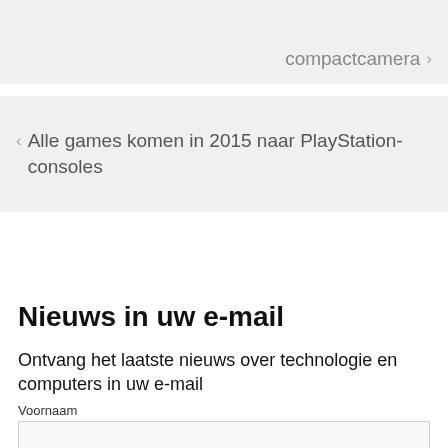compactcamera ›
‹ Alle games komen in 2015 naar PlayStation-consoles
Nieuws in uw e-mail
Ontvang het laatste nieuws over technologie en computers in uw e-mail
Voornaam